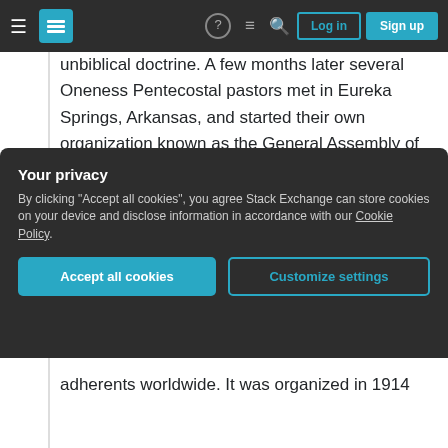Navigation bar with hamburger menu, Stack Exchange logo, help, chat, search icons, Log in and Sign up buttons
unbiblical doctrine. A few months later several Oneness Pentecostal pastors met in Eureka Springs, Arkansas, and started their own organization known as the General Assembly of the Apostolic Assemblies. That was the beginning of the Oneness Pentecostal movement and eventually in 1945 two of the many Oneness Pentecostal organizations merged to form the United Pentecostal Church. https://www.gotquestions.org/United-Pentecostal-Church.html
Your privacy
By clicking "Accept all cookies", you agree Stack Exchange can store cookies on your device and disclose information in accordance with our Cookie Policy.
[Accept all cookies] [Customize settings]
adherents worldwide. It was organized in 1914